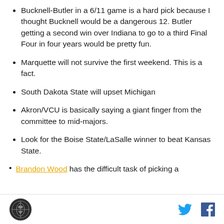Bucknell-Butler in a 6/11 game is a hard pick because I thought Bucknell would be a dangerous 12. Butler getting a second win over Indiana to go to a third Final Four in four years would be pretty fun.
Marquette will not survive the first weekend. This is a fact.
South Dakota State will upset Michigan
Akron/VCU is basically saying a giant finger from the committee to mid-majors.
Look for the Boise State/LaSalle winner to beat Kansas State.
Brandon Wood has the difficult task of picking a
[logo] [twitter] [facebook]